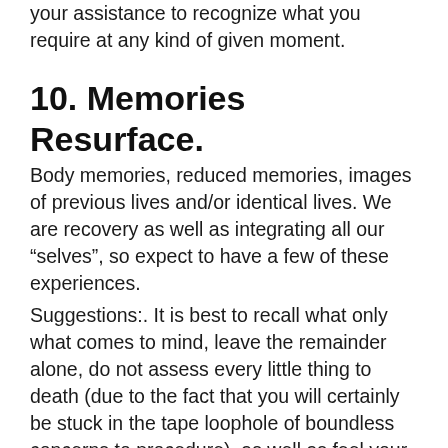your assistance to recognize what you require at any kind of given moment.
10. Memories Resurface.
Body memories, reduced memories, images of previous lives and/or identical lives. We are recovery as well as integrating all our “selves”, so expect to have a few of these experiences.
Suggestions:. It is best to recall what only what comes to mind, leave the remainder alone, do not assess every little thing to death (due to the fact that you will certainly be stuck in the tape loophole of boundless concerns to procedure), as well as feel your feelings as they come up. Ask for assistance